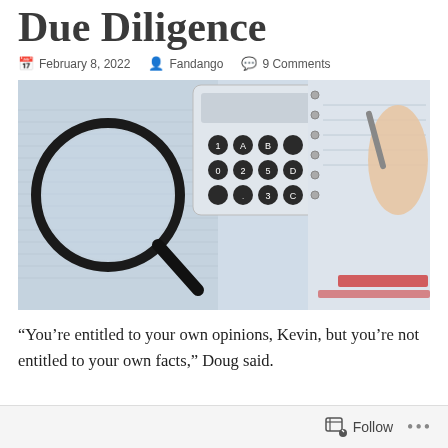Due Diligence
February 8, 2022  Fandango  9 Comments
[Figure (photo): A magnifying glass and a calculator resting on financial spreadsheet documents, with hands writing in a notebook on the right side.]
“You’re entitled to your own opinions, Kevin, but you’re not entitled to your own facts,” Doug said.
Follow ...